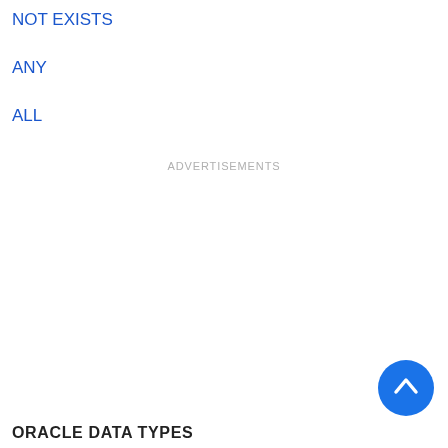NOT EXISTS
ANY
ALL
ADVERTISEMENTS
[Figure (other): Blue circular button with upward chevron arrow, used as scroll-to-top button]
ORACLE DATA TYPES